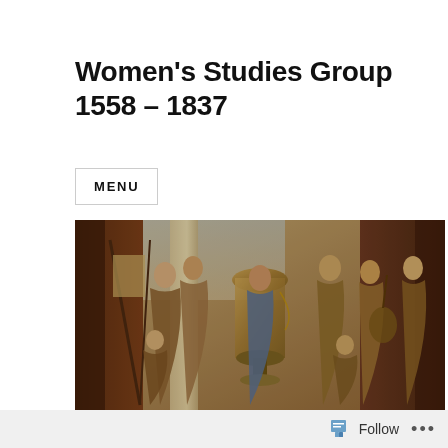Women's Studies Group 1558 – 1837
MENU
[Figure (photo): A wide horizontal painting depicting a group of women in classical dress, some holding musical instruments, gathered around a large decorative urn or vessel, with classical columns in the background.]
Women's Studies Group at BSECS 2016
Follow ...